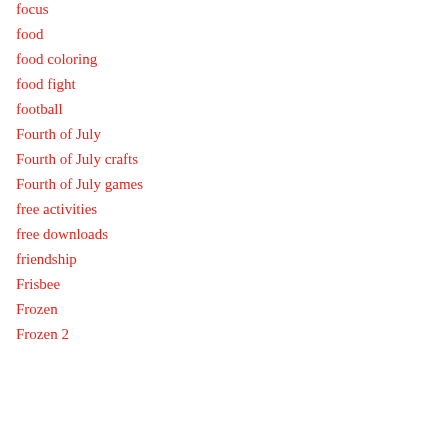focus
food
food coloring
food fight
football
Fourth of July
Fourth of July crafts
Fourth of July games
free activities
free downloads
friendship
Frisbee
Frozen
Frozen 2